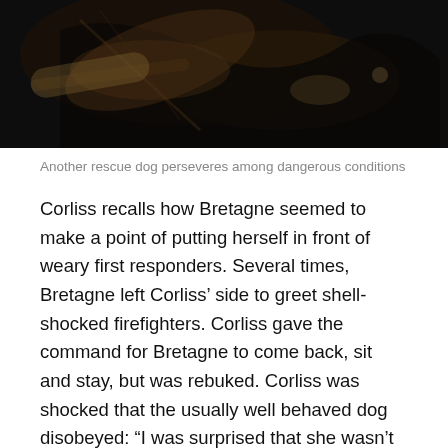[Figure (photo): Dark photograph of a rescue dog in low-light conditions, showing silhouettes and dark tones]
Another rescue dog perseveres among dangerous conditions
Corliss recalls how Bretagne seemed to make a point of putting herself in front of weary first responders. Several times, Bretagne left Corliss’ side to greet shell-shocked firefighters. Corliss gave the command for Bretagne to come back, sit and stay, but was rebuked. Corliss was shocked that the usually well behaved dog disobeyed: “I was surprised that she wasn’t listening to me, but she really wasn’t — it was like she was flipping me the paw.”
One of the veterinarians who looked after the search &